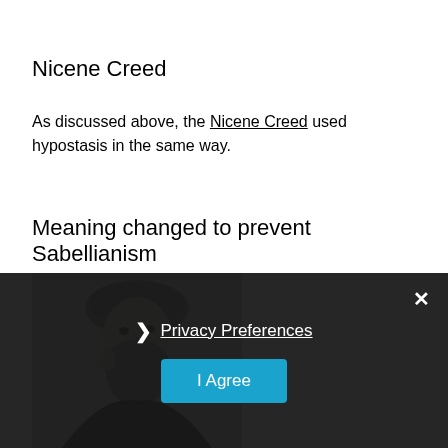Nicene Creed
As discussed above, the Nicene Creed used hypostasis in the same way.
Meaning changed to prevent Sabellianism
[Figure (illustration): Black and white engraving/illustration of a bearded man wearing a head covering, shown from the torso up, partially obscured by the overlay.]
Privacy Preferences
I Agree